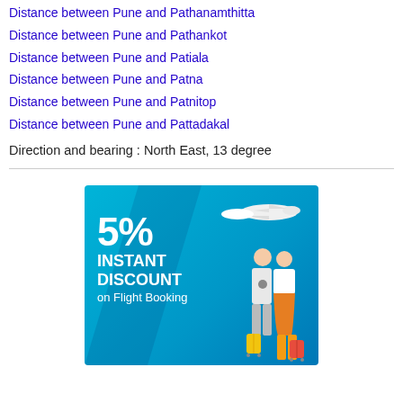Distance between Pune and Pathanamthitta
Distance between Pune and Pathankot
Distance between Pune and Patiala
Distance between Pune and Patna
Distance between Pune and Patnitop
Distance between Pune and Pattadakal
Direction and bearing : North East, 13 degree
[Figure (infographic): Advertisement banner for 5% instant discount on flight booking with airplane and couple illustration on blue background]